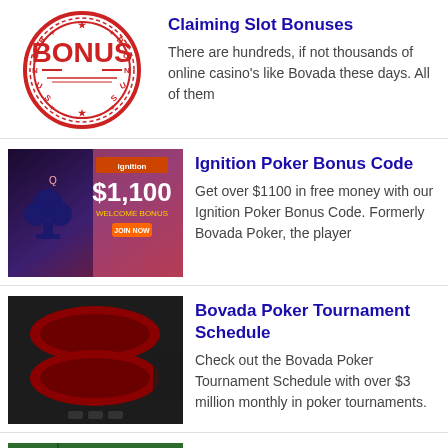[Figure (illustration): Red circular bonus stamp with 'BONUS' text in center and 'BONUS' around the rim with stars]
Claiming Slot Bonuses
There are hundreds, if not thousands of online casino's like Bovada these days. All of them
[Figure (illustration): Ignition casino promotional image showing $1,100 welcome bonus with playing card queen and club symbol]
Ignition Poker Bonus Code
Get over $1100 in free money with our Ignition Poker Bonus Code. Formerly Bovada Poker, the player
[Figure (photo): Dark screenshot of online poker tournament table with red oval poker tables]
Bovada Poker Tournament Schedule
Check out the Bovada Poker Tournament Schedule with over $3 million monthly in poker tournaments.
[Figure (photo): Baccarat table with green felt surface showing numbers and playing cards with casino chips]
How Do You Play Baccarat at Bovada?
Baccarat is one of the most popular casino games. People seem confused thinking the game is harder